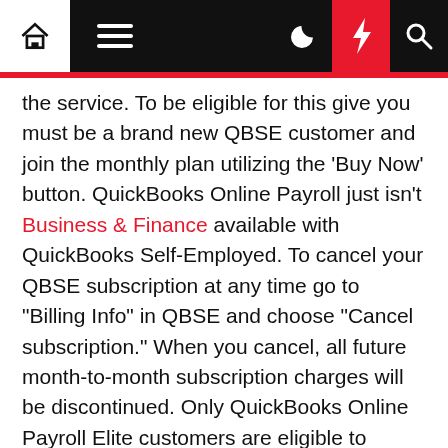Navigation bar with home, menu, dark mode, lightning/featured, and search icons
the service. To be eligible for this give you must be a brand new QBSE customer and join the monthly plan utilizing the 'Buy Now' button. QuickBooks Online Payroll just isn't Business & Finance available with QuickBooks Self-Employed. To cancel your QBSE subscription at any time go to "Billing Info" in QBSE and choose "Cancel subscription." When you cancel, all future month-to-month subscription charges will be discontinued. Only QuickBooks Online Payroll Elite customers are eligible to receive the tax penalty safety.
Table of Contents
Pal Of Dakota Business Fiance
One of the first issues that firms planning to merge